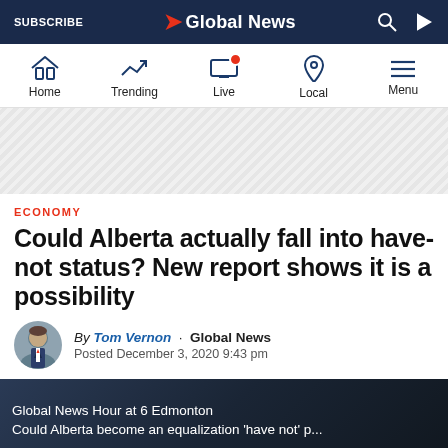SUBSCRIBE | Global News
[Figure (screenshot): Global News website navigation bar with Home, Trending, Live, Local, Menu icons]
[Figure (other): Advertisement banner with diagonal stripe pattern]
ECONOMY
Could Alberta actually fall into have-not status? New report shows it is a possibility
By Tom Vernon · Global News Posted December 3, 2020 9:43 pm
[Figure (screenshot): Video thumbnail: Global News Hour at 6 Edmonton - Could Alberta become an equalization 'have not' p...]